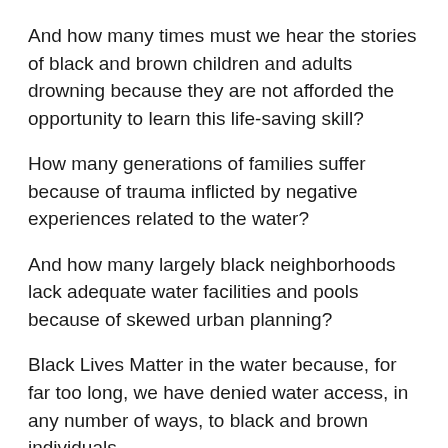And how many times must we hear the stories of black and brown children and adults drowning because they are not afforded the opportunity to learn this life-saving skill?
How many generations of families suffer because of trauma inflicted by negative experiences related to the water?
And how many largely black neighborhoods lack adequate water facilities and pools because of skewed urban planning?
Black Lives Matter in the water because, for far too long, we have denied water access, in any number of ways, to black and brown individuals.
That threatens their safety, their health, their sense of well-